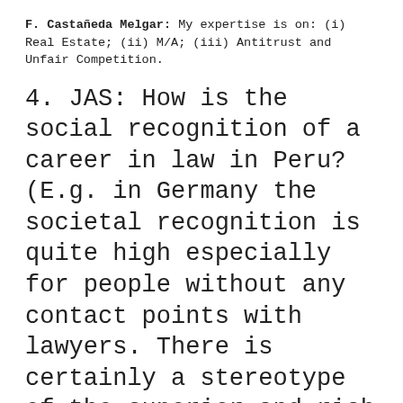F. Castañeda Melgar: My expertise is on: (i) Real Estate; (ii) M/A; (iii) Antitrust and Unfair Competition.
4. JAS: How is the social recognition of a career in law in Peru? (E.g. in Germany the societal recognition is quite high especially for people without any contact points with lawyers. There is certainly a stereotype of the superior and rich lawyer.)
F. Castañeda Melgar: It has mixed feelings. On the one hand, there is a lot of questioning due to the bad reputation of lawyers always linked to corruption issues, mainly in the small matters of